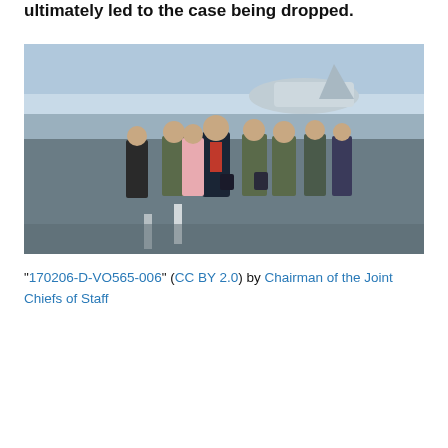ultimately led to the case being dropped.
[Figure (photo): A group of military personnel and civilians walking on an airport tarmac toward the camera. A man in a dark suit with a red tie walks at center. Military personnel in camouflage uniforms flank him. A woman in a pink blazer is to his left. A large aircraft is visible in the background under a clear blue sky.]
"170206-D-VO565-006" (CC BY 2.0) by Chairman of the Joint Chiefs of Staff